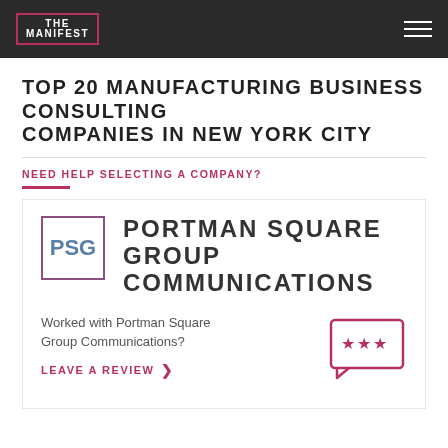THE MANIFEST
TOP 20 MANUFACTURING BUSINESS CONSULTING COMPANIES IN NEW YORK CITY
NEED HELP SELECTING A COMPANY?
PORTMAN SQUARE GROUP COMMUNICATIONS
Worked with Portman Square Group Communications?
LEAVE A REVIEW >